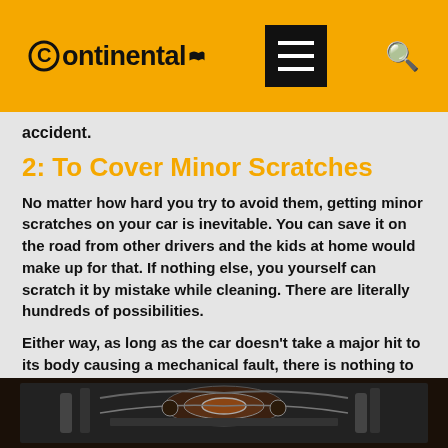Continental
accident.
2: To Cover Minor Scratches
No matter how hard you try to avoid them, getting minor scratches on your car is inevitable. You can save it on the road from other drivers and the kids at home would make up for that. If nothing else, you yourself can scratch it by mistake while cleaning. There are literally hundreds of possibilities.
Either way, as long as the car doesn't take a major hit to its body causing a mechanical fault, there is nothing to be alarmed of.
Look For The Inner Beauty
[Figure (photo): Close-up photo of a car engine interior showing mechanical components]